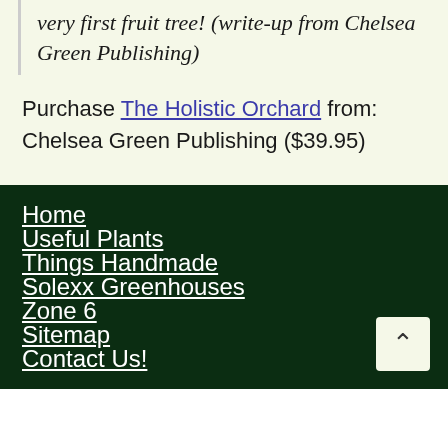very first fruit tree! (write-up from Chelsea Green Publishing)
Purchase The Holistic Orchard from: Chelsea Green Publishing ($39.95)
Home
Useful Plants
Things Handmade
Solexx Greenhouses
Zone 6
Sitemap
Contact Us!